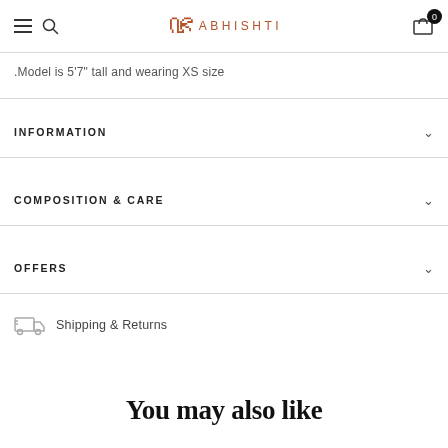ABHISHTI — navigation header with hamburger, search, logo, cart (0)
.Model is 5'7" tall and wearing XS size
INFORMATION
COMPOSITION & CARE
OFFERS
Shipping & Returns
You may also like